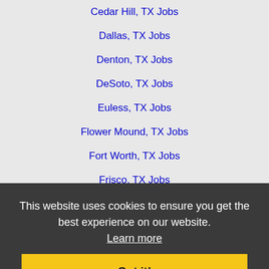Cedar Hill, TX Jobs
Dallas, TX Jobs
Denton, TX Jobs
DeSoto, TX Jobs
Euless, TX Jobs
Flower Mound, TX Jobs
Fort Worth, TX Jobs
Frisco, TX Jobs
Garland, TX Jobs
Grand Prairie, TX Jobs
Grapevine, TX Jobs
Haltom City, TX Jobs
Irving, TX Jobs
Keller, TX Jobs
Lewisville, TX Jobs
Mansfield, TX Jobs
McKinney, TX Jobs
Mesquite, TX Jobs
This website uses cookies to ensure you get the best experience on our website. Learn more
Got it!